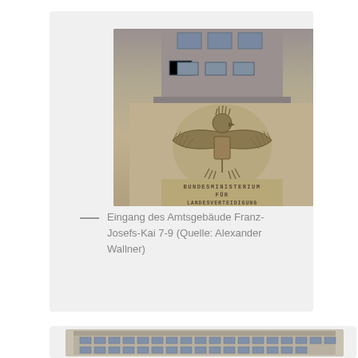[Figure (photo): Photograph of the entrance facade of Amtsgebäude Franz-Josefs-Kai 7-9, showing a stone building with an eagle emblem (Bundesadler) and the inscription BUNDESMINISTERIUM FÜR LANDESVERTEIDIGUNG carved into the stone.]
— Eingang des Amtsgebäude Franz-Josefs-Kai 7-9 (Quelle: Alexander Wallner)
[Figure (photo): Photograph of a large multi-story government building exterior, showing the full facade with many windows across multiple floors.]